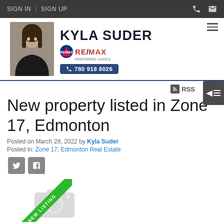SIGN IN  |  SIGN UP
[Figure (logo): Kyla Suder RE/MAX Preferred Choice agent logo with photo and phone number 780 918 8026]
RSS
New property listed in Zone 17, Edmonton
Posted on March 28, 2022 by Kyla Suder
Posted in: Zone 17, Edmonton Real Estate
[Figure (photo): Property listing photo placeholder with NEW LISTING ribbon banner and camera icon]